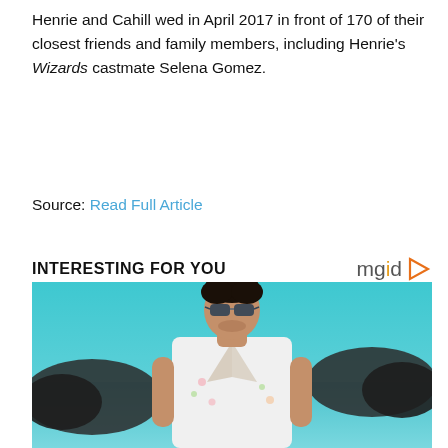Henrie and Cahill wed in April 2017 in front of 170 of their closest friends and family members, including Henrie's Wizards castmate Selena Gomez.
Source: Read Full Article
INTERESTING FOR YOU
[Figure (photo): A man wearing sunglasses and an open white shirt with floral details standing outdoors with a teal/turquoise ocean background and dark rocky formations.]